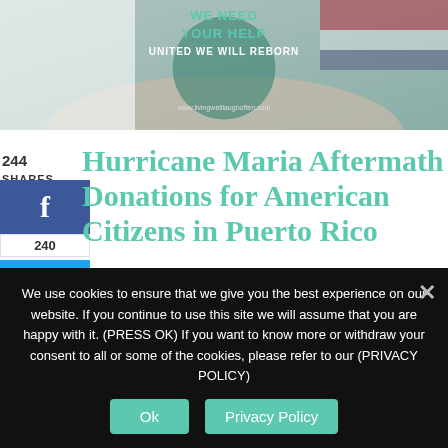[Figure (photo): Hurricane Maria relief image with text 'WE NEED YOUR HELP, UNITED WE WILL REBORN' and website www.livingwelllaughoften.com, showing hands holding a globe with flags]
Hurricane Maria Aftermath Donations for American Citizens in Puerto Rico
244
SHARES
240
(This post contains affiliate links. Read my disclosure.)
We use cookies to ensure that we give you the best experience on our website. If you continue to use this site we will assume that you are happy with it. (PRESS OK) If you want to know more or withdraw your consent to all or some of the cookies, please refer to our (PRIVACY POLICY)